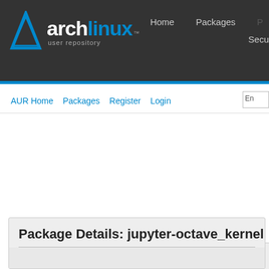[Figure (logo): Arch Linux user repository logo with blue triangle icon and navigation links Home, Packages, Security on dark header]
AUR Home   Packages   Register   Login
Search Criteria
Search by: Name, Description  |  Keywords:  |  Sort order: Descending  |  Per page: 50  |  Go  |  Orphans
Package Details: jupyter-octave_kernel 0.34.2...